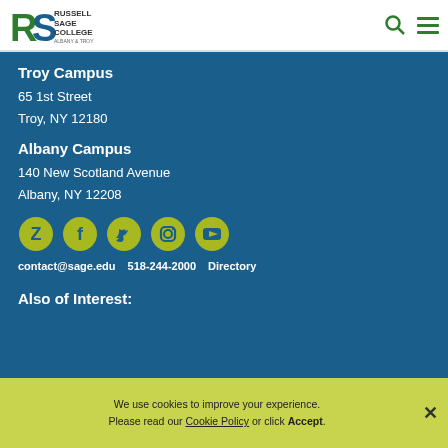[Figure (logo): Russell Sage College Albany & Troy logo with RS initials in green/blue and search/menu icons]
Troy Campus
65 1st Street
Troy, NY 12180
Albany Campus
140 New Scotland Avenue
Albany, NY 12208
[Figure (infographic): Five social media icons in yellow-green circles: Z (Ziggi), Facebook, Twitter, Instagram, YouTube]
contact@sage.edu    518-244-2000    Directory
Also of Interest:
We use cookies to improve your experience. Please read our Cookie Policy or click Accept.